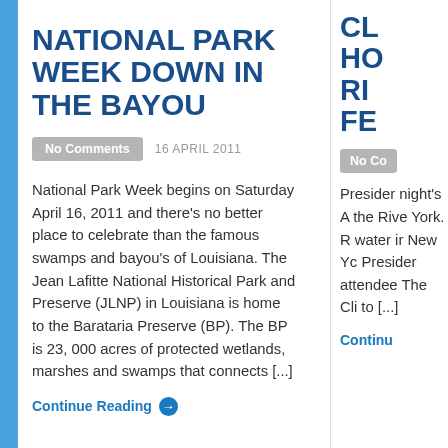NATIONAL PARK WEEK DOWN IN THE BAYOU
No Comments
16 APRIL 2011
National Park Week begins on Saturday April 16, 2011 and there’s no better place to celebrate than the famous swamps and bayou’s of Louisiana. The Jean Lafitte National Historical Park and Preserve (JLNP) in Louisiana is home to the Barataria Preserve (BP). The BP is 23, 000 acres of protected wetlands, marshes and swamps that connects [...]
Continue Reading →
CL HO RI FE
No Co
Presider night’s A the Rive York. R water ir New Yc Presider attendee The Cli to [...]
Continu